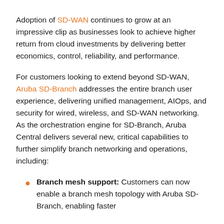Adoption of SD-WAN continues to grow at an impressive clip as businesses look to achieve higher return from cloud investments by delivering better economics, control, reliability, and performance.
For customers looking to extend beyond SD-WAN, Aruba SD-Branch addresses the entire branch user experience, delivering unified management, AIOps, and security for wired, wireless, and SD-WAN networking. As the orchestration engine for SD-Branch, Aruba Central delivers several new, critical capabilities to further simplify branch networking and operations, including:
Branch mesh support: Customers can now enable a branch mesh topology with Aruba SD-Branch, enabling faster convergence and...